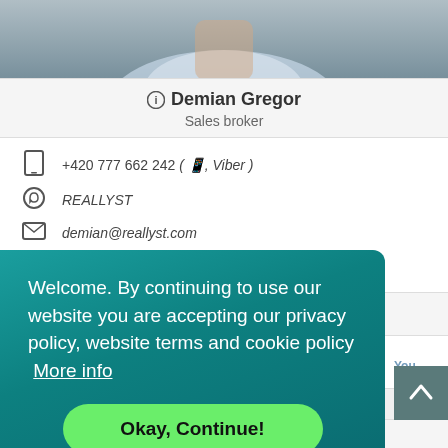[Figure (photo): Partial photo of a person (torso/neck area) in a light blue/white shirt, cropped at top of page]
ℹ Demian Gregor
Sales broker
+420 777 662 242 ( WhatsApp, Viber )
REALLYST
demian@reallyst.com
https://www.reallyst.com
ℹ REALLYST, Bolans, s.r.o.
[Figure (screenshot): Social media icons bar (Facebook, Google+, Twitter, another icon, Instagram, YouTube)]
Welcome. By continuing to use our website you are accepting our privacy policy, website terms and cookie policy  More info

Okay, Continue!